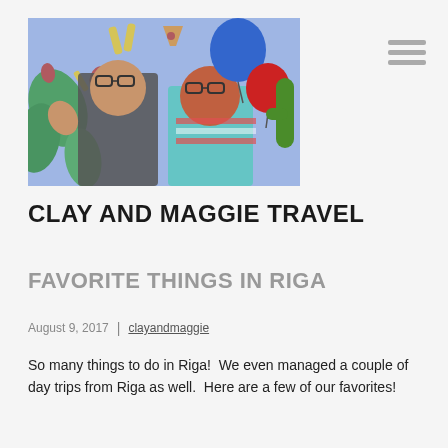[Figure (photo): Two people smiling and posing in front of a colorful mural with balloons. The man on the left wears glasses and has his hand raised; the woman on the right holds a blue balloon. Vibrant illustrated background.]
CLAY AND MAGGIE TRAVEL
FAVORITE THINGS IN RIGA
August 9, 2017  |  clayandmaggie
So many things to do in Riga!  We even managed a couple of day trips from Riga as well.  Here are a few of our favorites!